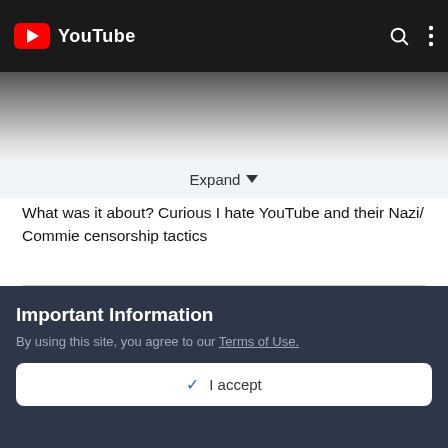[Figure (screenshot): YouTube app screenshot showing top navigation bar with YouTube logo, search and menu icons, fading into a gray gradient below]
Expand ▼
What was it about? Curious I hate YouTube and their Nazi/
Commie censorship tactics
2  3 (reaction counts with love and upvote icons)
Floridian
Important Information
By using this site, you agree to our Terms of Use.
✓ I accept